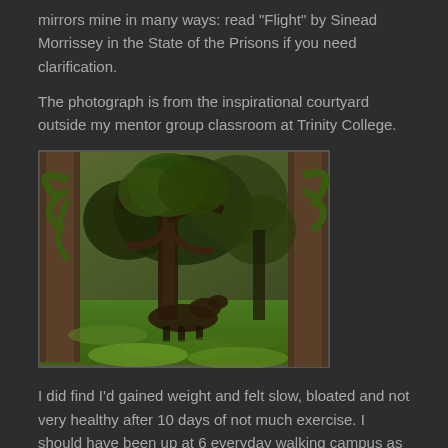mirrors mine in many ways: read "Flight" by Sinead Morrissey in the State of the Prisons if you need clarification.
The photograph is from the inspirational courtyard outside my mentor group classroom at Trinity College.
[Figure (photo): Outdoor courtyard photo showing palm trees, lush green grass, and what appears to be a deer or animal resting in the shade under trees at Trinity College.]
I did find I'd gained weight and felt slow, bloated and not very healthy after 10 days of not much exercise. I should have been up at 6 everyday walking campus as I planned; I guess more and more I am feeling my age.